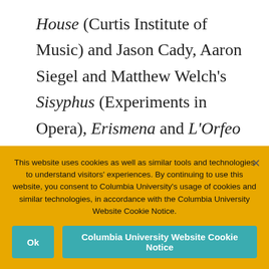House (Curtis Institute of Music) and Jason Cady, Aaron Siegel and Matthew Welch's Sisyphus (Experiments in Opera), Erismena and L'Orfeo (Yale Baroque Opera Project), L'incoronazione di Poppea (Princeton University),
This website uses cookies as well as similar tools and technologies to understand visitors' experiences. By continuing to use this website, you consent to Columbia University's usage of cookies and similar technologies, in accordance with the Columbia University Website Cookie Notice.